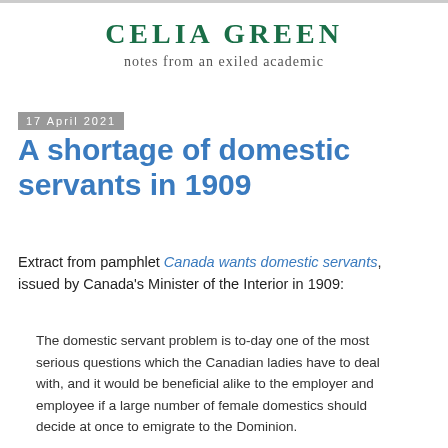CELIA GREEN
notes from an exiled academic
17 April 2021
A shortage of domestic servants in 1909
Extract from pamphlet Canada wants domestic servants, issued by Canada's Minister of the Interior in 1909:
The domestic servant problem is to-day one of the most serious questions which the Canadian ladies have to deal with, and it would be beneficial alike to the employer and employee if a large number of female domestics should decide at once to emigrate to the Dominion.